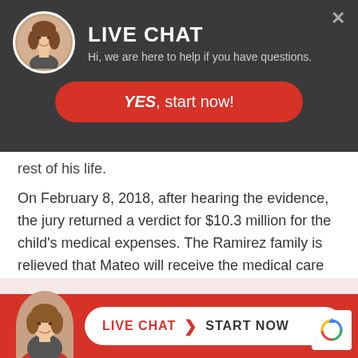[Figure (screenshot): Live chat overlay popup with dark background, avatar photo of woman, LIVE CHAT title, subtitle text, and red YES start now button]
rest of his life.
On February 8, 2018, after hearing the evidence, the jury returned a verdict for $10.3 million for the child's medical expenses. The Ramirez family is relieved that Mateo will receive the medical care he needs, and they hope that this case will prevent other children from being injured in the same way in the future.
[Figure (screenshot): Bottom live chat bar with red background, woman avatar, and white pill button showing LIVE CHAT > START NOW, with reCAPTCHA badge on right]